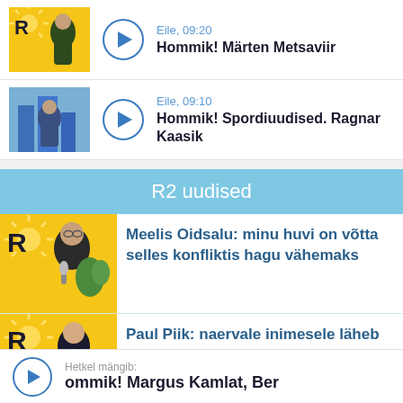[Figure (screenshot): Podcast list item with thumbnail, play button, time and title: Eile, 09:20 - Hommik! Märten Metsaviir]
[Figure (screenshot): Podcast list item with thumbnail, play button, time and title: Eile, 09:10 - Hommik! Spordiuudised. Ragnar Kaasik]
R2 uudised
[Figure (screenshot): News item with R2 logo thumbnail: Meelis Oidsalu: minu huvi on võtta selles konfliktis hagu vähemaks]
[Figure (screenshot): News item with R2 logo thumbnail: Paul Piik: naervale inimesele läheb südamlik sõnum rohkem hinge]
Hetkel mängib: ommik! Margus Kamlat, Ber